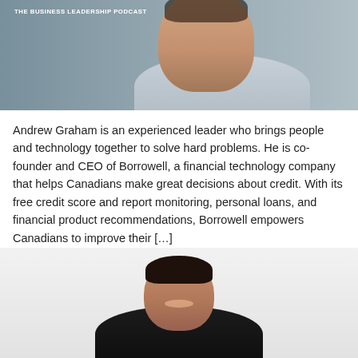[Figure (photo): Photo of a person (Andrew Graham) with The Business Leadership Podcast logo in top-left corner. Background shows a studio-style portrait.]
Andrew Graham is an experienced leader who brings people and technology together to solve hard problems. He is co-founder and CEO of Borrowell, a financial technology company that helps Canadians make great decisions about credit. With its free credit score and report monitoring, personal loans, and financial product recommendations, Borrowell empowers Canadians to improve their […]
TBLP 144 | JP Chauvet: Lightspeed Leader
[Figure (photo): Photo of JP Chauvet smiling, wearing dark clothing, against a light gray background.]